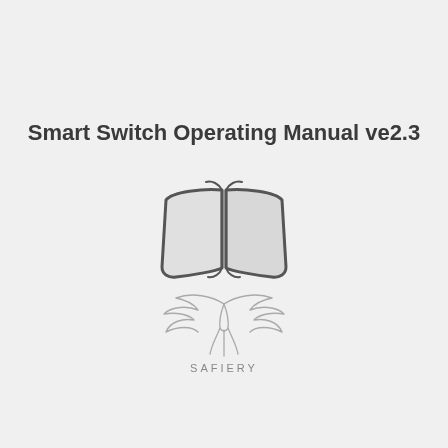Smart Switch Operating Manual ve2.3
[Figure (illustration): Open book icon with pages fanned out, rendered in gray outline style]
[Figure (logo): Safiery company logo — stylized phoenix bird with wings spread above the text SAFIERY, all in gray]